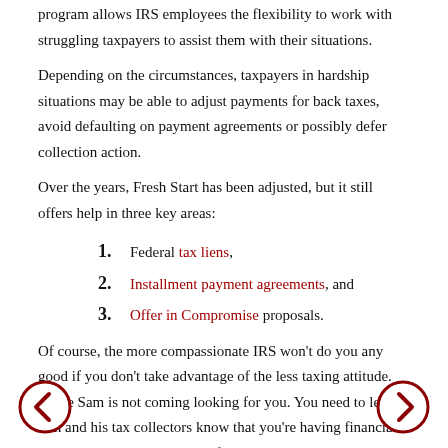program allows IRS employees the flexibility to work with struggling taxpayers to assist them with their situations.
Depending on the circumstances, taxpayers in hardship situations may be able to adjust payments for back taxes, avoid defaulting on payment agreements or possibly defer collection action.
Over the years, Fresh Start has been adjusted, but it still offers help in three key areas:
Federal tax liens,
Installment payment agreements, and
Offer in Compromise proposals.
Of course, the more compassionate IRS won't do you any good if you don't take advantage of the less taxing attitude. Uncle Sam is not coming looking for you. You need to let him and his tax collectors know that you're having financial trouble that is making it hard for you to pay your taxes.
And reach out before things get really, really bad.